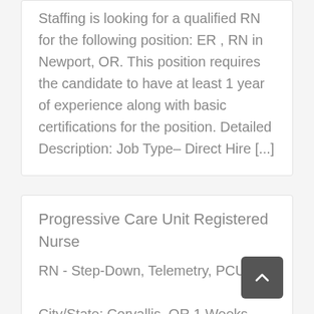Staffing is looking for a qualified RN for the following position: ER , RN in Newport, OR. This position requires the candidate to have at least 1 year of experience along with basic certifications for the position. Detailed Description: Job Type– Direct Hire [...]
Progressive Care Unit Registered Nurse
RN - Step-Down, Telemetry, PCU City/State: Corvallis, OR 1 Weeks Assignment Zack Crown Healthcare...